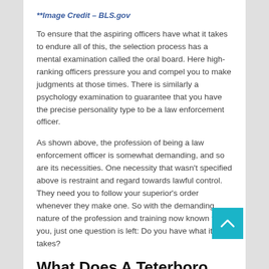**Image Credit – BLS.gov
To ensure that the aspiring officers have what it takes to endure all of this, the selection process has a mental examination called the oral board. Here high-ranking officers pressure you and compel you to make judgments at those times. There is similarly a psychology examination to guarantee that you have the precise personality type to be a law enforcement officer.
As shown above, the profession of being a law enforcement officer is somewhat demanding, and so are its necessities. One necessity that wasn't specified above is restraint and regard towards lawful control. They need you to follow your superior's order whenever they make one. So with the demanding nature of the profession and training now known to you, just one question is left: Do you have what it takes?
What Does A Teterboro Police Officer Do?